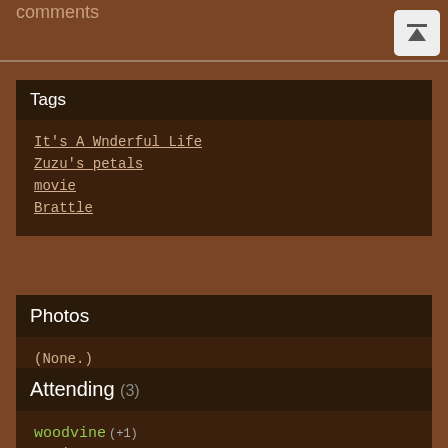comments
Tags
It's A Wnderful Life
Zuzu's petals
movie
Brattle
Photos
(None.)
Attending (3)
woodvine +1
Cogito